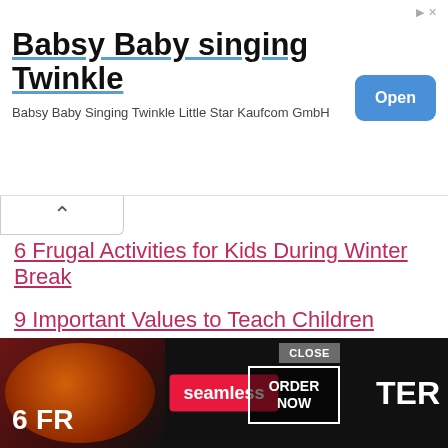[Figure (screenshot): Advertisement banner for Babsy Baby singing Twinkle app with Open button]
Babsy Baby singing Twinkle
Babsy Baby Singing Twinkle Little Star Kaufcom GmbH
6 Frugal Activities for Kids During Winter Break
9 Important Values to Teach Children
Favorite Family Christmas Traditions, Modernized!
FILED UNDER: EDUCATION, FAMILY TIME, MONEY AND FINANCES, PARENTING BLOG AT KIDSAINTCHEAP
TAGGED WITH: BRACES, CHILDBIRTH, COLLEGE, FAMILY FINANCES, SPACING CHILDREN
[Figure (screenshot): Seamless food delivery advertisement with pizza image, ORDER NOW button, and CLOSE button]